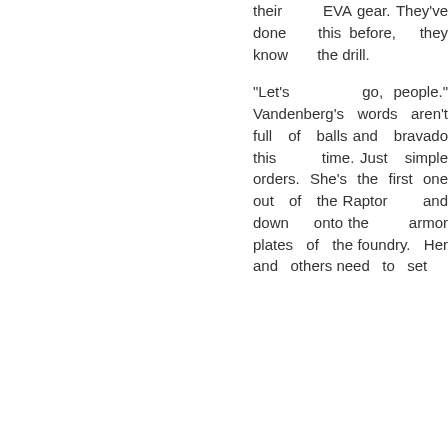their EVA gear. They've done this before, they know the drill.
"Let's go, people." Vandenberg's words aren't full of balls and bravado this time. Just simple orders. She's the first one out of the Raptor and down onto the armor plates of the foundry. Her and others need to set